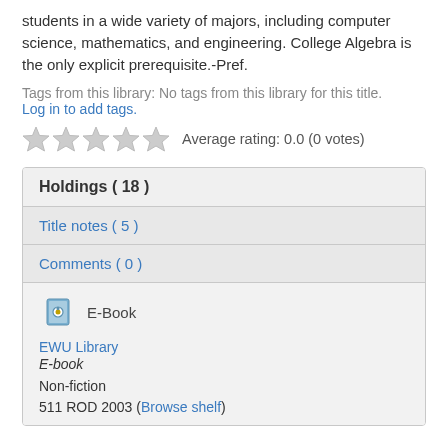students in a wide variety of majors, including computer science, mathematics, and engineering. College Algebra is the only explicit prerequisite.-Pref.
Tags from this library: No tags from this library for this title. Log in to add tags.
Average rating: 0.0 (0 votes)
| Section |
| --- |
| Holdings ( 18 ) |
| Title notes ( 5 ) |
| Comments ( 0 ) |
| E-Book | EWU Library | E-book | Non-fiction | 511 ROD 2003 (Browse shelf) |
EWU Library
E-book
Non-fiction
511 ROD 2003 (Browse shelf)